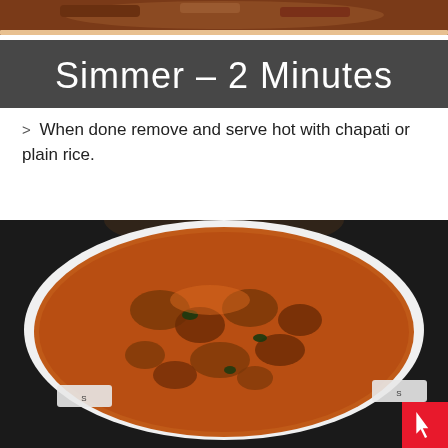[Figure (photo): Photo of a curry dish simmering in a pan, with a dark overlay banner reading 'Simmer - 2 Minutes' in large white text]
> When done remove and serve hot with chapati or plain rice.
[Figure (photo): Overhead photo of a white pot filled with a rich brown curry containing mushrooms and vegetables, viewed from above on a dark stovetop]